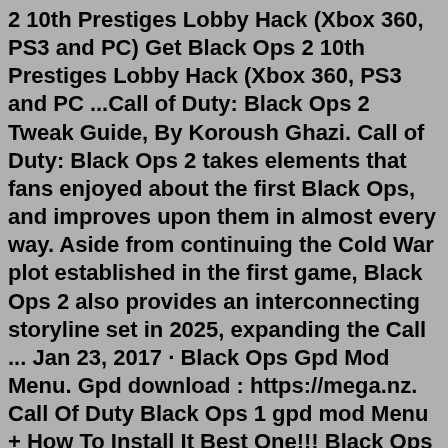2 10th Prestiges Lobby Hack (Xbox 360, PS3 and PC) Get Black Ops 2 10th Prestiges Lobby Hack (Xbox 360, PS3 and PC ...Call of Duty: Black Ops 2 Tweak Guide, By Koroush Ghazi. Call of Duty: Black Ops 2 takes elements that fans enjoyed about the first Black Ops, and improves upon them in almost every way. Aside from continuing the Cold War plot established in the first game, Black Ops 2 also provides an interconnecting storyline set in 2025, expanding the Call ... Jan 23, 2017 · Black Ops Gpd Mod Menu. Gpd download : https://mega.nz. Call Of Duty Black Ops 1 gpd mod Menu + How To Install It Best One!!! Black Ops 3 BIGGEST SCORE STREAK Challenge. Black Ops 2 Zombies USB Mods (updated Link!) 4/8/2016. I should know for the fact it did say usb mod but idnt say gpd editor. A new update for Black Ops Cold War is here--check out the patch notes. A new patch for Call of Duty: Black Ops Cold War is out now that makes some important changes and fixes to the multiplayer ...Mar 08, 2018 · The mod tools will give